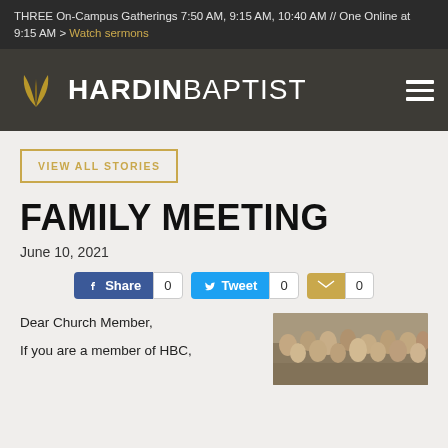THREE On-Campus Gatherings 7:50 AM, 9:15 AM, 10:40 AM // One Online at 9:15 AM > Watch sermons
[Figure (logo): Hardin Baptist Church logo with golden leaf icon and white text reading HARDINBAPTIST, plus hamburger menu icon on the right]
VIEW ALL STORIES
FAMILY MEETING
June 10, 2021
Share 0  Tweet 0  0
Dear Church Member,
If you are a member of HBC,